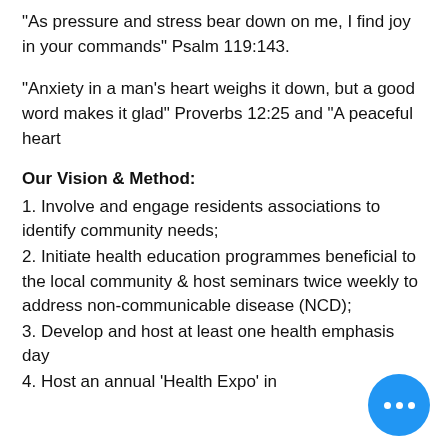“As pressure and stress bear down on me, I find joy in your commands” Psalm 119:143.
“Anxiety in a man’s heart weighs it down, but a good word makes it glad” Proverbs 12:25 and “A peaceful heart
Our Vision & Method:
1. Involve and engage residents associations to identify community needs;
2. Initiate health education programmes beneficial to the local community & host seminars twice weekly to address non-communicable disease (NCD);
3. Develop and host at least one health emphasis day
4. Host an annual 'Health Expo' in